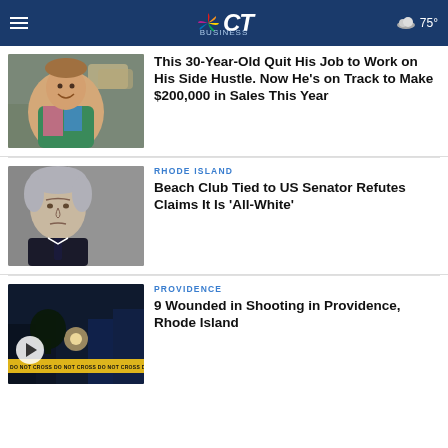NBC CT — 75°
[Figure (photo): Man in colorful outfit smiling in a warehouse setting]
This 30-Year-Old Quit His Job to Work on His Side Hustle. Now He's on Track to Make $200,000 in Sales This Year
[Figure (photo): Senior male politician with gray hair in dark suit]
RHODE ISLAND
Beach Club Tied to US Senator Refutes Claims It Is 'All-White'
[Figure (photo): Night scene with police tape and lights in Providence]
PROVIDENCE
9 Wounded in Shooting in Providence, Rhode Island